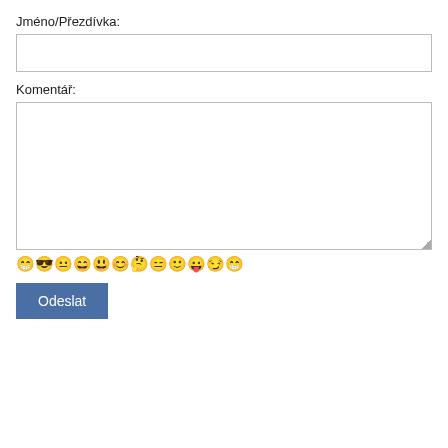Jméno/Přezdívka:
(name input box)
Komentář:
(comment textarea)
[Figure (illustration): Row of 12 small pixel-art smiley face emoji icons]
Odeslat